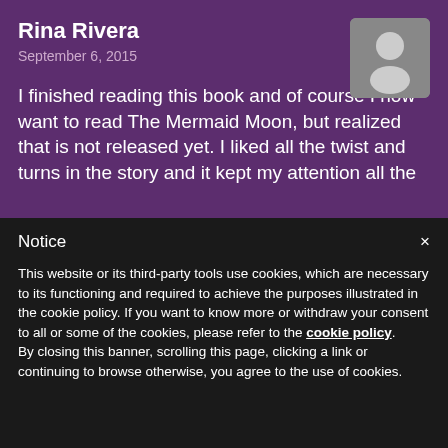Rina Rivera
September 6, 2015
[Figure (illustration): Grey placeholder avatar silhouette on grey background, rounded rectangle]
I finished reading this book and of course I now want to read The Mermaid Moon, but realized that is not released yet. I liked all the twist and turns in the story and it kept my attention all the
Notice
This website or its third-party tools use cookies, which are necessary to its functioning and required to achieve the purposes illustrated in the cookie policy. If you want to know more or withdraw your consent to all or some of the cookies, please refer to the cookie policy.
By closing this banner, scrolling this page, clicking a link or continuing to browse otherwise, you agree to the use of cookies.